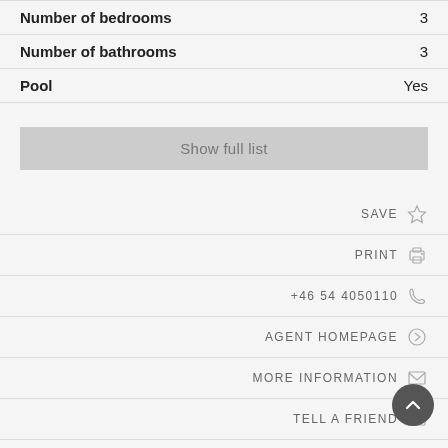| Property | Value |
| --- | --- |
| Number of bedrooms | 3 |
| Number of bathrooms | 3 |
| Pool | Yes |
Show full list
SAVE
PRINT
+46 54 4050110
AGENT HOMEPAGE
MORE INFORMATION
TELL A FRIEND
CREATE PDF
SHARE ON FACEBOOK